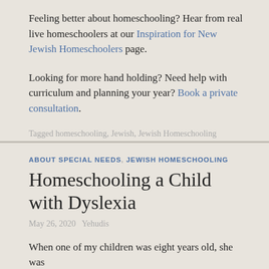Feeling better about homeschooling? Hear from real live homeschoolers at our Inspiration for New Jewish Homeschoolers page.
Looking for more hand holding? Need help with curriculum and planning your year? Book a private consultation.
Tagged homeschooling, Jewish, Jewish Homeschooling
Leave a comment
ABOUT SPECIAL NEEDS, JEWISH HOMESCHOOLING
Homeschooling a Child with Dyslexia
May 26, 2020   Yehudis
When one of my children was eight years old, she was